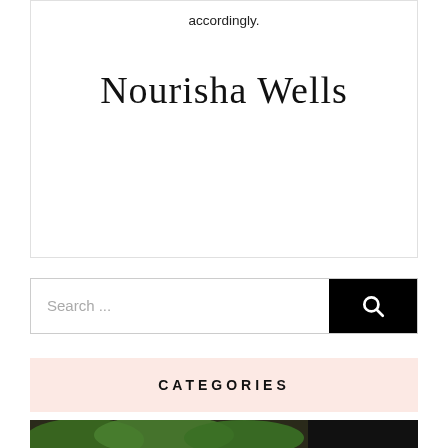accordingly.
Nourisha Wells
Search ...
CATEGORIES
EAT TO LIVE
8 Post(s)